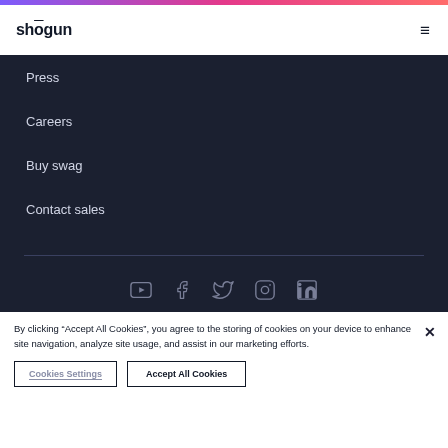shōgun
Press
Careers
Buy swag
Contact sales
[Figure (infographic): Social media icons: YouTube, Facebook, Twitter, Instagram, LinkedIn]
By clicking "Accept All Cookies", you agree to the storing of cookies on your device to enhance site navigation, analyze site usage, and assist in our marketing efforts.
Cookies Settings    Accept All Cookies